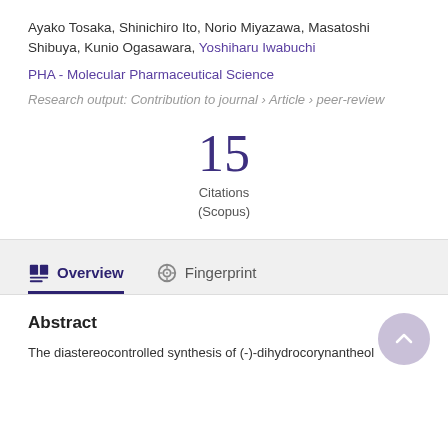Ayako Tosaka, Shinichiro Ito, Norio Miyazawa, Masatoshi Shibuya, Kunio Ogasawara, Yoshiharu Iwabuchi
PHA - Molecular Pharmaceutical Science
Research output: Contribution to journal › Article › peer-review
15
Citations
(Scopus)
Overview   Fingerprint
Abstract
The diastereocontrolled synthesis of (-)-dihydrocorynantheol